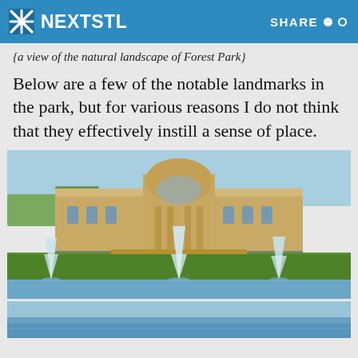NEXTSTL  SHARE
{a view of the natural landscape of Forest Park}
Below are a few of the notable landmarks in the park, but for various reasons I do not think that they effectively instill a sense of place.
[Figure (photo): Photograph of the St. Louis Art Museum in Forest Park, a grand neoclassical stone building seen from across a reflecting pool with three fountain jets spraying water in the foreground and a green lawn in between.]
[Figure (photo): Partial view of another Forest Park landmark photo, showing sky and water at the bottom of the page.]